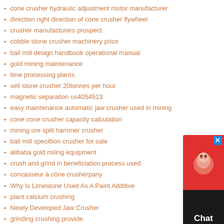cone crusher hydraulic adjustment motor manufacturer
direction right direction of cone crusher flywheel
crusher manufacturers prospect
cobble stone crusher machinery price
ball mill design handbook operational manual
gold mining maintenance
lime processing plants
sell stone crusher 20tonnes per hour
magnetic separation us4054513
easy maintenance automatic jaw crusher used in mining
cone cone crusher capacity calculation
mining ore split hammer crusher
ball mill specifiion crusher for sale
alibaba gold miling equipment
crush and grind in beneficiation process used
concasseur à cône crusherpany
Why Is Limestone Used As A Paint Additive
plant calcium crushing
Newly Developed Jaw Crusher
grinding crushing provide
spiral classifier machine in chromite ore processing